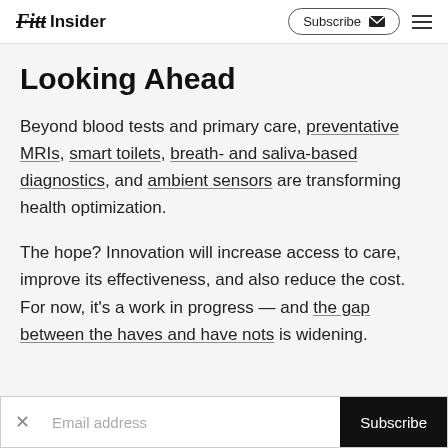Fitt Insider | Subscribe
Looking Ahead
Beyond blood tests and primary care, preventative MRIs, smart toilets, breath- and saliva-based diagnostics, and ambient sensors are transforming health optimization.
The hope? Innovation will increase access to care, improve its effectiveness, and also reduce the cost. For now, it's a work in progress — and the gap between the haves and have nots is widening.
Email address | Subscribe